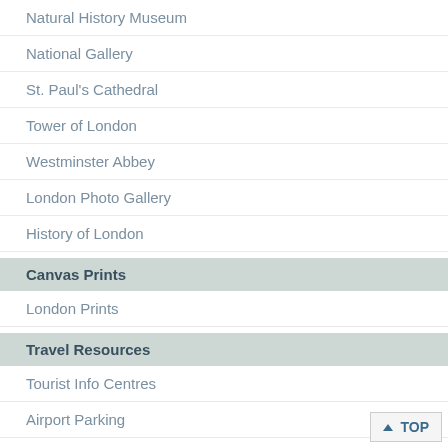Natural History Museum
National Gallery
St. Paul's Cathedral
Tower of London
Westminster Abbey
London Photo Gallery
History of London
Canvas Prints
London Prints
Travel Resources
Tourist Info Centres
Airport Parking